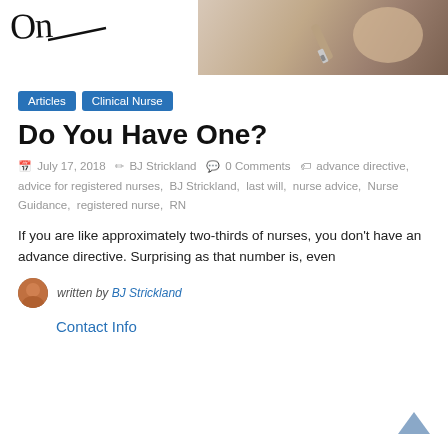[Figure (photo): Header image showing a hand writing with a pen, with a cursive script logo partially visible on the left side.]
Articles
Clinical Nurse
Do You Have One?
July 17, 2018   BJ Strickland   0 Comments   advance directive, advice for registered nurses, BJ Strickland, last will, nurse advice, Nurse Guidance, registered nurse, RN
If you are like approximately two-thirds of nurses, you don't have an advance directive. Surprising as that number is, even
written by BJ Strickland
Contact Info